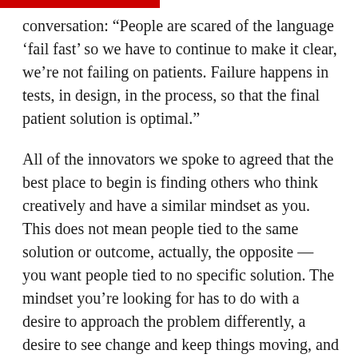conversation: “People are scared of the language ‘fail fast’ so we have to continue to make it clear, we’re not failing on patients. Failure happens in tests, in design, in the process, so that the final patient solution is optimal."
All of the innovators we spoke to agreed that the best place to begin is finding others who think creatively and have a similar mindset as you. This does not mean people tied to the same solution or outcome, actually, the opposite — you want people tied to no specific solution. The mindset you’re looking for has to do with a desire to approach the problem differently, a desire to see change and keep things moving, and a willingness to take a risk.